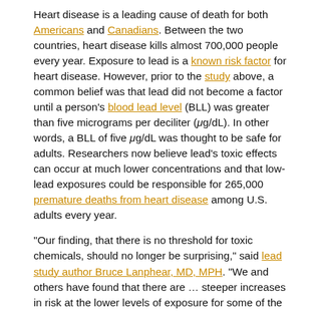Heart disease is a leading cause of death for both Americans and Canadians. Between the two countries, heart disease kills almost 700,000 people every year. Exposure to lead is a known risk factor for heart disease. However, prior to the study above, a common belief was that lead did not become a factor until a person's blood lead level (BLL) was greater than five micrograms per deciliter (μg/dL). In other words, a BLL of five μg/dL was thought to be safe for adults. Researchers now believe lead's toxic effects can occur at much lower concentrations and that low-lead exposures could be responsible for 265,000 premature deaths from heart disease among U.S. adults every year.
"Our finding, that there is no threshold for toxic chemicals, should no longer be surprising," said lead study author Bruce Lanphear, MD, MPH. "We and others have found that there are … steeper increases in risk at the lower levels of exposure for some of the most well-studied toxic chemicals, like lead, air pollution, benzene and asbestos. These studies indicate that we need to achieve near-zero exposures to protect people's health."